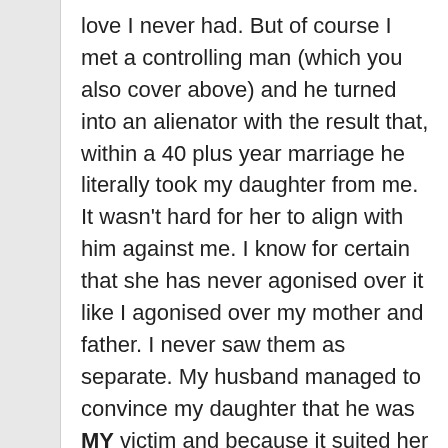love I never had. But of course I met a controlling man (which you also cover above) and he turned into an alienator with the result that, within a 40 plus year marriage he literally took my daughter from me. It wasn't hard for her to align with him against me. I know for certain that she has never agonised over it like I agonised over my mother and father. I never saw them as separate. My husband managed to convince my daughter that he was MY victim and because it suited her (his glamorous hobby which from teenage years onwards and even to this day provides her